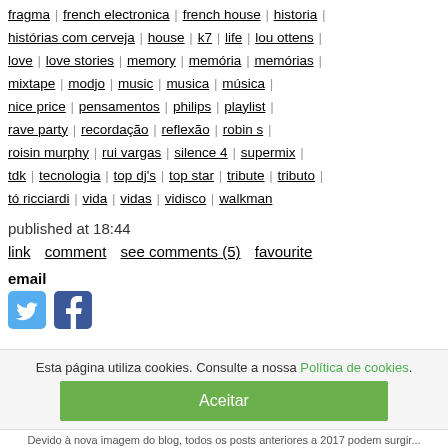fragma | french electronica | french house | historia | histórias com cerveja | house | k7 | life | lou ottens | love | love stories | memory | memória | memórias | mixtape | modjo | music | musica | música | nice price | pensamentos | philips | playlist | rave party | recordação | reflexão | robin s | roisin murphy | rui vargas | silence 4 | supermix | tdk | tecnologia | top dj's | top star | tribute | tributo | tó ricciardi | vida | vidas | vidisco | walkman
published at 18:44
link   comment   see comments (5)   favourite
email
[Figure (other): Twitter and Facebook social share icons]
Esta página utiliza cookies. Consulte a nossa Política de cookies.
Aceitar
Devido à nova imagem do blog, todos os posts anteriores a 2017 podem surgir...